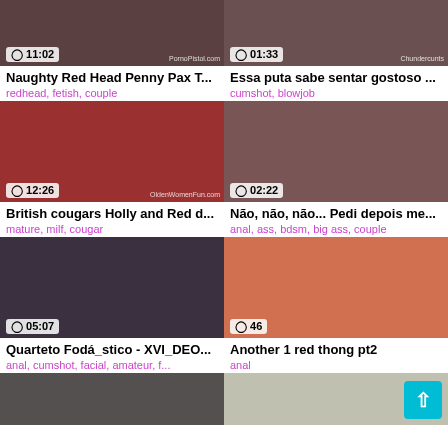[Figure (screenshot): Video thumbnail row 1 left with duration 11:02]
Naughty Red Head Penny Pax T...
redhead, fetish, couple
[Figure (screenshot): Video thumbnail row 1 right with duration 01:33]
Essa puta sabe sentar gostoso ...
cumshot, blowjob
[Figure (screenshot): Video thumbnail row 2 left with duration 12:26]
British cougars Holly and Red d...
mature, milf, cougar
[Figure (screenshot): Video thumbnail row 2 right with duration 02:22]
Não, não, não... Pedi depois me...
anal, ass, bdsm, big ass, couple
[Figure (screenshot): Video thumbnail row 3 left with duration 05:07]
Quarteto Fodá_stico - XVI_DEO...
anal, cumshot, facial, amateur, f...
[Figure (screenshot): Video thumbnail row 3 right with duration 46]
Another 1 red thong pt2
anal
[Figure (screenshot): Partial video thumbnails row 4 left and right]
[Figure (infographic): Scroll to top button (cyan arrow up)]